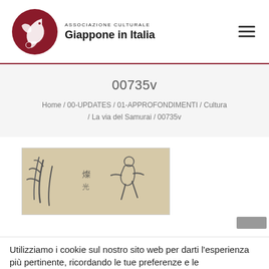[Figure (logo): Giappone in Italia cultural association logo: dark red circular emblem with stylized bird/crane shape, text 'ASSOCIAZIONE CULTURALE' above 'Giappone in Italia' in bold]
00735v
Home / 00-UPDATES / 01-APPROFONDIMENTI / Cultura / La via del Samurai / 00735v
[Figure (illustration): Partial view of a Japanese ink drawing on beige/tan paper showing brushstroke figures and Japanese characters]
Utilizziamo i cookie sul nostro sito web per darti l'esperienza più pertinente, ricordando le tue preferenze e le